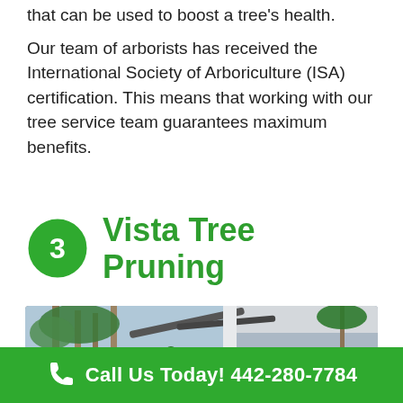that can be used to boost a tree's health.
Our team of arborists has received the International Society of Arboriculture (ISA) certification. This means that working with our tree service team guarantees maximum benefits.
3  Vista Tree Pruning
[Figure (photo): Workers on an elevated platform (cherry picker) pruning trees near a building rooftop.]
Call Us Today! 442-280-7784